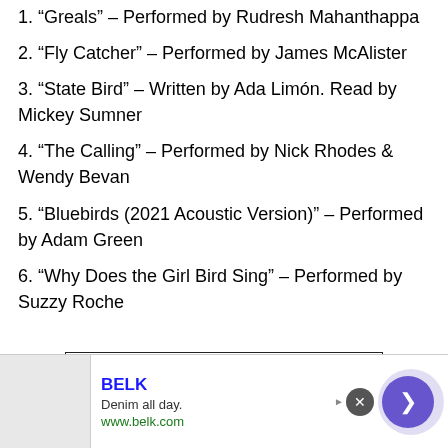1. “Greals” – Performed by Rudresh Mahanthappa
2. “Fly Catcher” – Performed by James McAlister
3. “State Bird” – Written by Ada Limón. Read by Mickey Sumner
4. “The Calling” – Performed by Nick Rhodes & Wendy Bevan
5. “Bluebirds (2021 Acoustic Version)” – Performed by Adam Green
6. “Why Does the Girl Bird Sing” – Performed by Suzzy Roche
[Figure (other): Advertisement banner for BELK: 'Denim all day. www.belk.com' with a close button and arrow navigation button.]